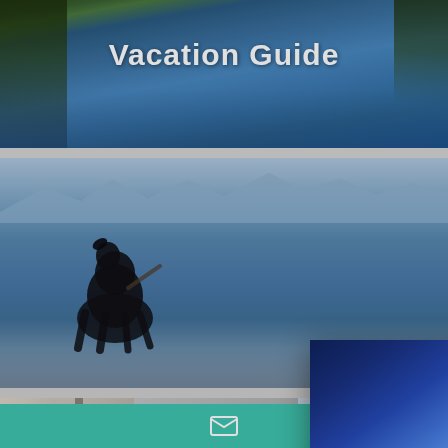[Figure (screenshot): Screenshot of a vacation rental website showing 'Vacation Guide' header banner with lake and forest background]
Vacation Guide
[Figure (photo): Photo of a black dog on a lakeshore with blue mountain lake and distant mountains in background]
[Figure (photo): Interior room photo with wooden frame and winter mountain view through window]
[Figure (photo): Sky/clouds photo]
[Figure (infographic): Popup modal overlay showing a FREE TRAVEL GUIDE advertisement with a snowboarder on a ski slope. Text reads 'FREE', 'TRAVEL GUIDE', 'REQUEST IT NOW', 'TAHOE MOON PROPERTIES'. Has an X close button.]